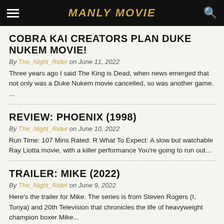MANLY MOVIE
COBRA KAI CREATORS PLAN DUKE NUKEM MOVIE!
By The_Night_Rider on June 11, 2022
Three years ago I said The King is Dead, when news emerged that not only was a Duke Nukem movie cancelled, so was another game. ...
REVIEW: PHOENIX (1998)
By The_Night_Rider on June 10, 2022
Run Time: 107 Mins Rated: R What To Expect: A slow but watchable Ray Liotta movie, with a killer performance You're going to run out...
TRAILER: MIKE (2022)
By The_Night_Rider on June 9, 2022
Here's the trailer for Mike. The series is from Steven Rogers (I, Tonya) and 20th Television that chronicles the life of heavyweight champion boxer Mike...